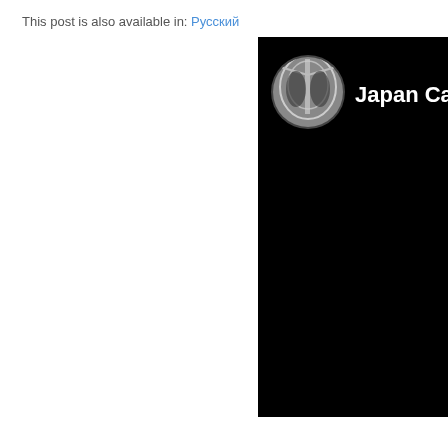This post is also available in: Русский
[Figure (screenshot): A partially visible social media or website card with a black background. On the left side of the card is a circular profile image showing an X-ray of a chest/torso. To the right of the image is white text reading 'Japan Cars & Cul' (text is cut off at the right edge). The card has a dark/black background and appears to be cropped.]